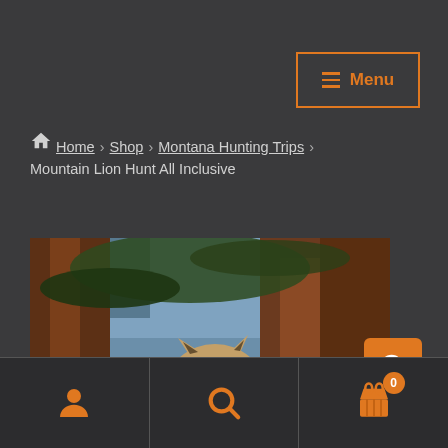Menu
Home > Shop > Montana Hunting Trips > Mountain Lion Hunt All Inclusive
[Figure (photo): Mountain lion resting in a pine tree surrounded by branches and greenish moss, looking at camera from above]
Navigation bar with user, search, and cart (0) icons